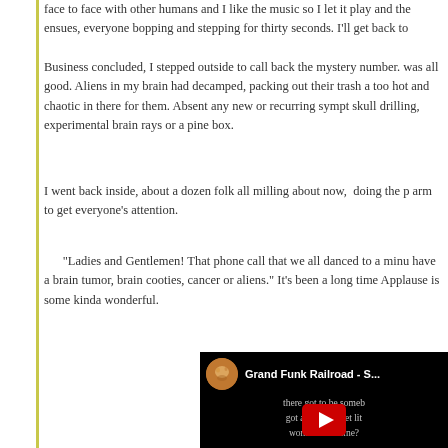face to face with other humans and I like the music so I let it play and the ensues, everyone bopping and stepping for thirty seconds. I'll get back to
Business concluded, I stepped outside to call back the mystery number. was all good. Aliens in my brain had decamped, packing out their trash a too hot and chaotic in there for them. Absent any new or recurring sympt skull drilling, experimental brain rays or a pine box.
I went back inside, about a dozen folk all milling about now,  doing the p arm to get everyone's attention.
"Ladies and Gentlemen! That phone call that we all danced to a minu have a brain tumor, brain cooties, cancer or aliens." It's been a long time Applause is some kinda wonderful.
[Figure (screenshot): YouTube video embed showing Grand Funk Railroad - S... with avatar icon, song lyrics 'there got to be someb got a, go et lit woman like mine?' overlaid on black background, with YouTube play button in center]